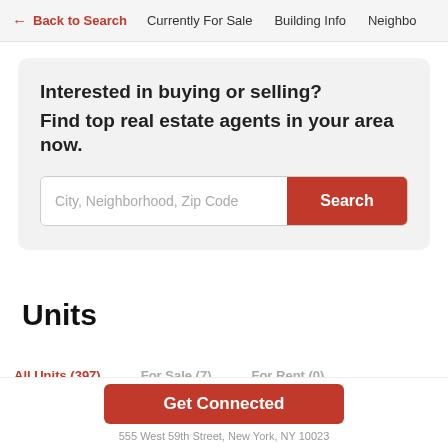← Back to Search   Currently For Sale   Building Info   Neighbo
Interested in buying or selling?
Find top real estate agents in your area now.
City, Neighborhood, Zip Code   Search
Units
All Units (397)   For Sale (7)   For Rent (0)
Get Connected
555 West 59th Street, New York, NY 10023